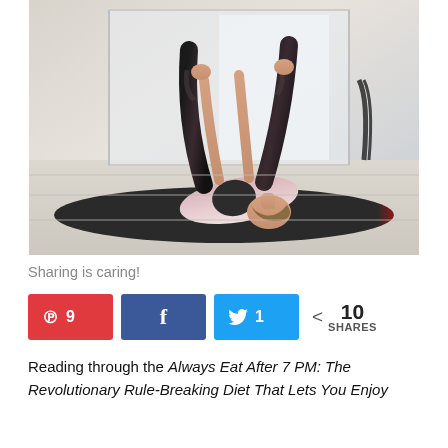[Figure (photo): Woman lying on a dark yoga mat in a gym, performing a yoga stretch with her legs raised vertically and held with both hands, wearing a pink top and dark patterned leggings. Mirror and bright windows visible in the background.]
Sharing is caring!
Pinterest 9, Facebook, Twitter 1, 10 SHARES
Reading through the Always Eat After 7 PM: The Revolutionary Rule-Breaking Diet That Lets You Enjoy